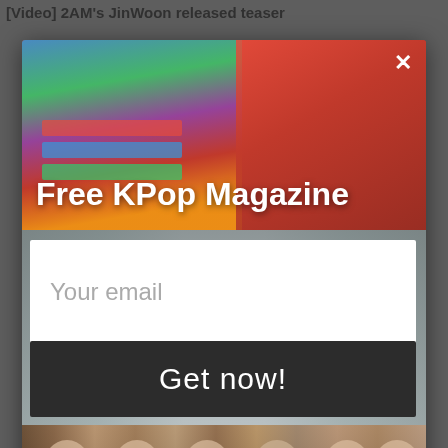[Video] 2AM's JinWoon released teaser
[Figure (photo): K-pop modal popup overlay with photos of female K-pop artists on top and a group of male/female K-pop artists in the middle, and a row of smiling female K-pop artists at the bottom]
Free KPop Magazine
Your email
Get now!
[Figure (illustration): Mascot cartoon character peeking from the bottom of the page]